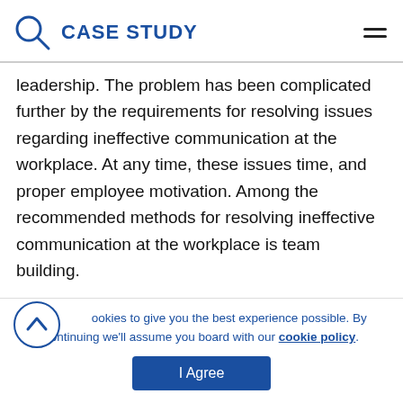CASE STUDY
leadership. The problem has been complicated further by the requirements for resolving issues regarding ineffective communication at the workplace. At any time, these issues time, and proper employee motivation. Among the recommended methods for resolving ineffective communication at the workplace is team building.
We use cookies to give you the best experience possible. By continuing we'll assume you board with our cookie policy.
I Agree